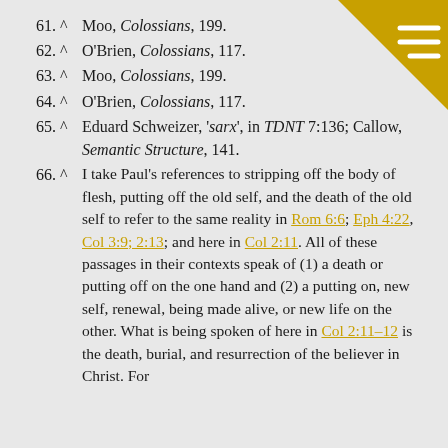61. ^ Moo, Colossians, 199.
62. ^ O'Brien, Colossians, 117.
63. ^ Moo, Colossians, 199.
64. ^ O'Brien, Colossians, 117.
65. ^ Eduard Schweizer, 'sarx', in TDNT 7:136; Callow, Semantic Structure, 141.
66. ^ I take Paul's references to stripping off the body of flesh, putting off the old self, and the death of the old self to refer to the same reality in Rom 6:6; Eph 4:22, Col 3:9; 2:13; and here in Col 2:11. All of these passages in their contexts speak of (1) a death or putting off on the one hand and (2) a putting on, new self, renewal, being made alive, or new life on the other. What is being spoken of here in Col 2:11–12 is the death, burial, and resurrection of the believer in Christ. For